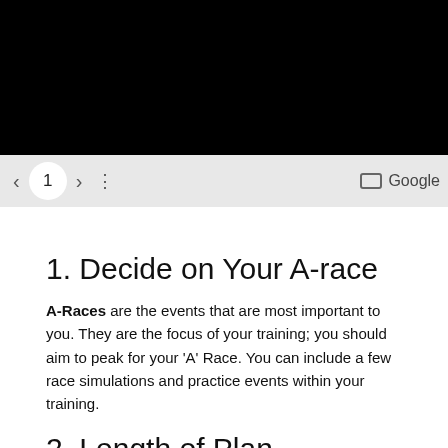[Figure (screenshot): Black bar at top of page representing a dark image or video area]
< 1 > ⋮  Google
1. Decide on Your A-race
A-Races are the events that are most important to you. They are the focus of your training; you should aim to peak for your 'A' Race. You can include a few race simulations and practice events within your training.
2. Length of Plan
Count the number of weeks until your 'A' target race date. And choose a plan to take you right up to race